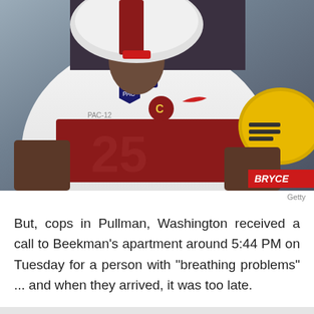[Figure (photo): Washington State football player wearing white jersey with number 25, PAC-12 150th anniversary patch, WSU Cougar logo, and Nike swoosh, in action on the field. A BRYCE label appears in red in the bottom right corner.]
Getty
But, cops in Pullman, Washington received a call to Beekman's apartment around 5:44 PM on Tuesday for a person with "breathing problems" ... and when they arrived, it was too late.
No official cause of death has been released but a